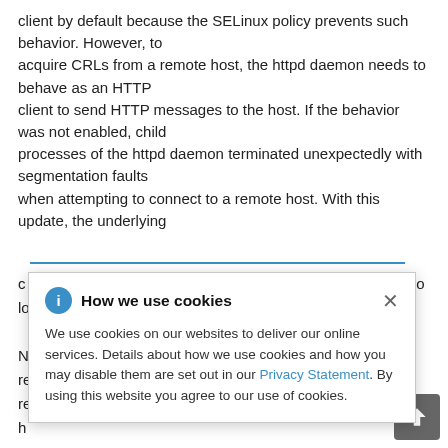client by default because the SELinux policy prevents such behavior. However, to acquire CRLs from a remote host, the httpd daemon needs to behave as an HTTP client to send HTTP messages to the host. If the behavior was not enabled, child processes of the httpd daemon terminated unexpectedly with segmentation faults when attempting to connect to a remote host. With this update, the underlying
[Figure (screenshot): Cookie consent popup dialog titled 'How we use cookies' with info icon, close X button, and body text explaining cookie usage with a Privacy Statement link.]
faults no longer ... httpd to re... re... h... ro...